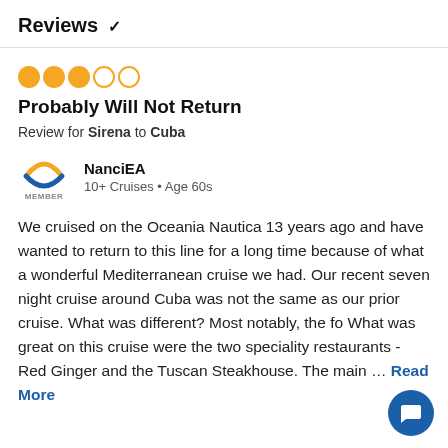Reviews ∨
[Figure (other): 3 filled orange circles and 2 empty orange circles representing a 3 out of 5 star rating]
Probably Will Not Return
Review for Sirena to Cuba
[Figure (logo): Oceania Cruises member logo with orange and blue arc design, labeled MEMBER]
NanciEA
10+ Cruises • Age 60s
We cruised on the Oceania Nautica 13 years ago and have wanted to return to this line for a long time because of what a wonderful Mediterranean cruise we had. Our recent seven night cruise around Cuba was not the same as our prior cruise. What was different? Most notably, the fo What was great on this cruise were the two speciality restaurants - Red Ginger and the Tuscan Steakhouse. The main ... Read More